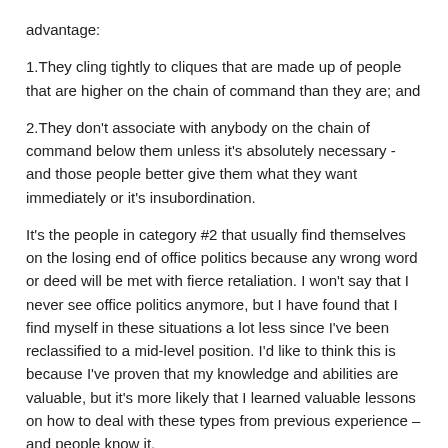advantage:
1.They cling tightly to cliques that are made up of people that are higher on the chain of command than they are; and
2.They don't associate with anybody on the chain of command below them unless it's absolutely necessary - and those people better give them what they want immediately or it's insubordination.
It's the people in category #2 that usually find themselves on the losing end of office politics because any wrong word or deed will be met with fierce retaliation. I won't say that I never see office politics anymore, but I have found that I find myself in these situations a lot less since I've been reclassified to a mid-level position. I'd like to think this is because I've proven that my knowledge and abilities are valuable, but it's more likely that I learned valuable lessons on how to deal with these types from previous experience – and people know it.
So what's the secret to dealing when you're the victim of office politics? If you're right, stand by that. Don't ever cave in and take the quick and easy route, because that always comes back if the other...